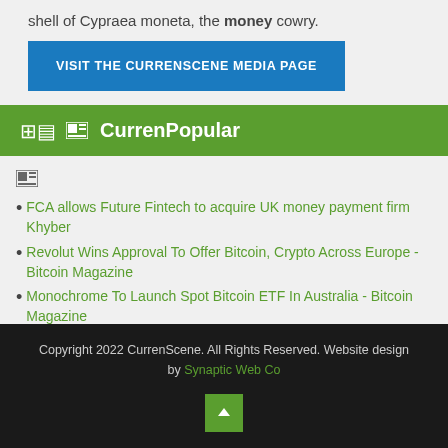shell of Cypraea moneta, the money cowry.
VISIT THE CURRENSCENE MEDIA PAGE
CurrenPopular
FCA allows Future Fintech to acquire UK money payment firm Khyber
Revolut Wins Approval To Offer Bitcoin, Crypto Across Europe - Bitcoin Magazine
Monochrome To Launch Spot Bitcoin ETF In Australia - Bitcoin Magazine
Copyright 2022 CurrenScene. All Rights Reserved. Website design by Synaptic Web Co